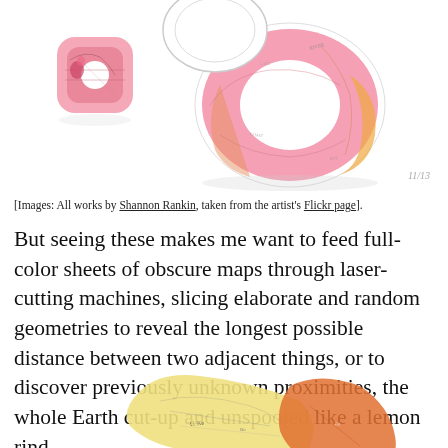[Figure (photo): Two pink donut-shaped cut map artworks and one small rounded square pink cut map piece, on white background. Top portion of the page.]
[Images: All works by Shannon Rankin, taken from the artist’s Flickr page].
But seeing these makes me want to feed full-color sheets of obscure maps through laser-cutting machines, slicing elaborate and random geometries to reveal the longest possible distance between two adjacent things, or to discover previously unknown proximities, the whole Earth cut-up and unspooled like a lemon rind.
[Figure (photo): Partial view of colorful cut map artwork pieces at the bottom of the page, showing yellow and orange/red fragments with text visible.]